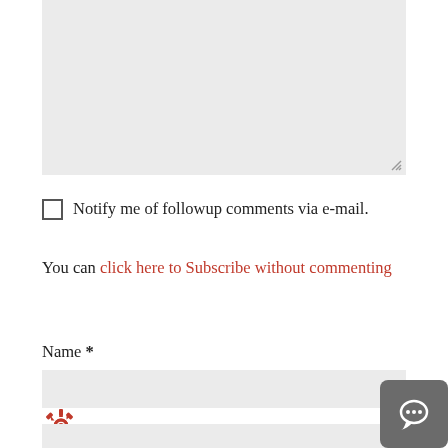[Figure (screenshot): Textarea input box (light gray, empty, with resize handle at bottom-right)]
Notify me of followup comments via e-mail.
You can click here to Subscribe without commenting
Name *
[Figure (screenshot): Name text input field (light gray, empty)]
[Figure (screenshot): Gear/settings icon (red, pixelated) on the left side]
ail *
[Figure (screenshot): Chat/comment button (dark gray rounded square) with speech bubble icon at bottom-right]